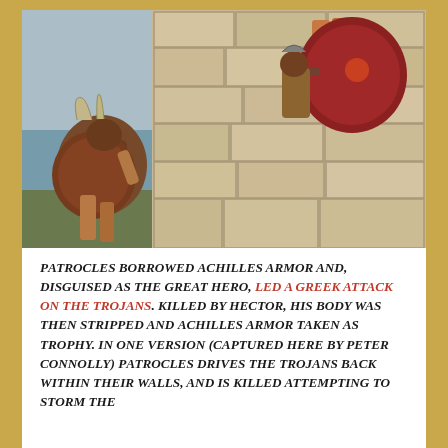[Figure (illustration): Painting by Peter Connolly depicting warriors in ancient Greek armor scaling or fighting at a stone wall. One figure in dark armor with a red shield and horsehair-plumed helmet is at the lower left, another armored warrior with a large red shield climbs the stone wall at upper right. The wall is made of large rectangular stone blocks. A blue sky and sea are visible in the background at upper left.]
Patrocles borrowed Achilles armor and, disguised as the great hero, led a Greek attack on the Trojans. Killed by Hector, his body was then stripped and Achilles armor taken as trophy. In one version (captured here by Peter Connolly) Patrocles drives the Trojans back within their walls, and is killed attempting to storm the